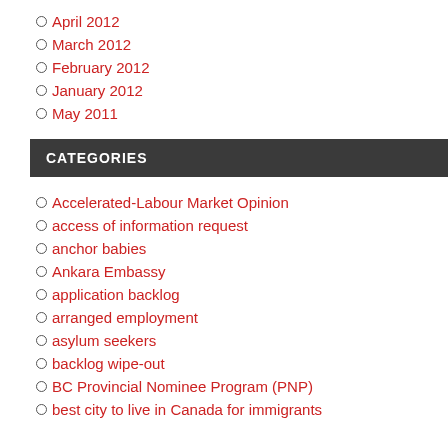April 2012
March 2012
February 2012
January 2012
May 2011
CATEGORIES
Accelerated-Labour Market Opinion
access of information request
anchor babies
Ankara Embassy
application backlog
arranged employment
asylum seekers
backlog wipe-out
BC Provincial Nominee Program (PNP)
best city to live in Canada for immigrants